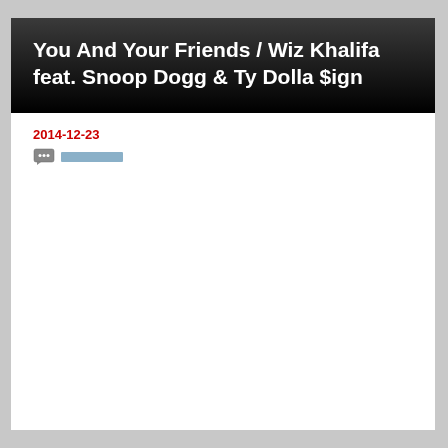You And Your Friends / Wiz Khalifa feat. Snoop Dogg & Ty Dolla $ign
2014-12-23
[comment icon] [comment link]